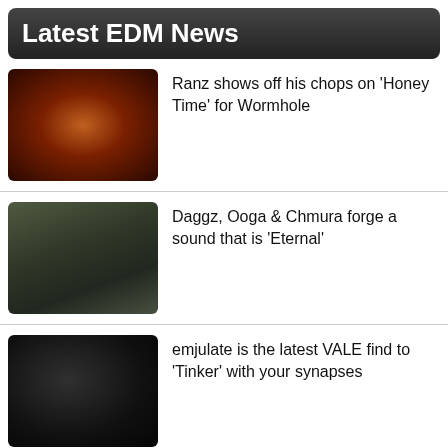Latest EDM News
Ranz shows off his chops on 'Honey Time' for Wormhole
Daggz, Ooga & Chmura forge a sound that is 'Eternal'
emjulate is the latest VALE find to 'Tinker' with your synapses
Chef Boyarbeatz slides his career into 'Cruise Control'